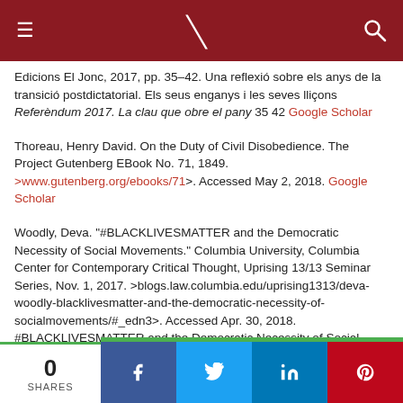Navigation bar with menu, logo, and search icons
Edicions El Jonc, 2017, pp. 35–42. Una reflexió sobre els anys de la transició postdictatorial. Els seus enganys i les seves lliçons Referèndum 2017. La clau que obre el pany 35 42 Google Scholar
Thoreau, Henry David. On the Duty of Civil Disobedience. The Project Gutenberg EBook No. 71, 1849. >www.gutenberg.org/ebooks/71>. Accessed May 2, 2018. Google Scholar
Woodly, Deva. "#BLACKLIVESMATTER and the Democratic Necessity of Social Movements." Columbia University, Columbia Center for Contemporary Critical Thought, Uprising 13/13 Seminar Series, Nov. 1, 2017. >blogs.law.columbia.edu/uprising1313/deva-woodly-blacklivesmatter-and-the-democratic-necessity-of-socialmovements/#_edn3>. Accessed Apr. 30, 2018. #BLACKLIVESMATTER and the Democratic Necessity of Social Movements Google Scholar
0 SHARES | Facebook | Twitter | LinkedIn | Pinterest